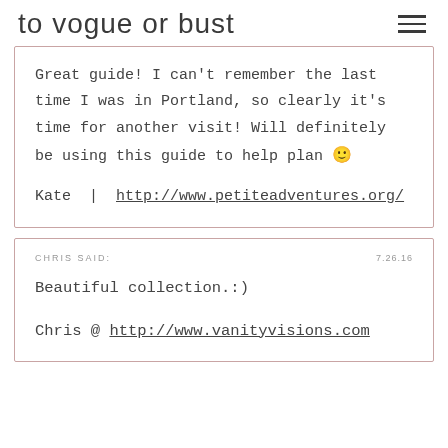to vogue or bust
Great guide! I can't remember the last time I was in Portland, so clearly it's time for another visit! Will definitely be using this guide to help plan 🙂

Kate | http://www.petiteadventures.org/
CHRIS SAID:
7.26.16

Beautiful collection.:)

Chris @ http://www.vanityvisions.com